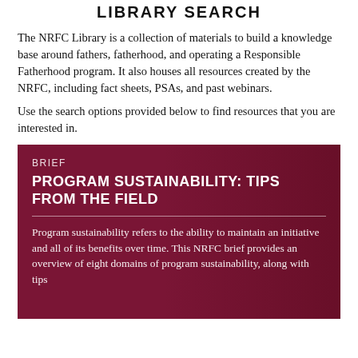LIBRARY SEARCH
The NRFC Library is a collection of materials to build a knowledge base around fathers, fatherhood, and operating a Responsible Fatherhood program. It also houses all resources created by the NRFC, including fact sheets, PSAs, and past webinars.
Use the search options provided below to find resources that you are interested in.
BRIEF
PROGRAM SUSTAINABILITY: TIPS FROM THE FIELD
Program sustainability refers to the ability to maintain an initiative and all of its benefits over time. This NRFC brief provides an overview of eight domains of program sustainability, along with tips